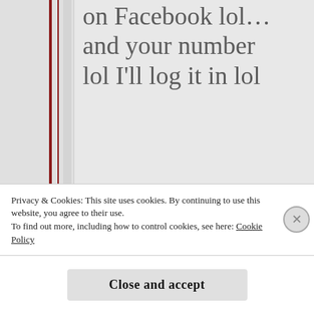on Facebook lol… and your number lol I'll log it in lol
★ Liked by 1 person
REPLY
[Figure (photo): Circular avatar photo of user dcpassio wearing a cap and sunglasses]
dcpassio
Privacy & Cookies: This site uses cookies. By continuing to use this website, you agree to their use.
To find out more, including how to control cookies, see here: Cookie Policy
Close and accept